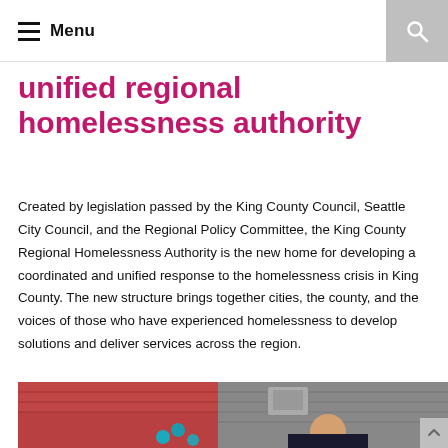Menu
unified regional homelessness authority
Created by legislation passed by the King County Council, Seattle City Council, and the Regional Policy Committee, the King County Regional Homelessness Authority is the new home for developing a coordinated and unified response to the homelessness crisis in King County. The new structure brings together cities, the county, and the voices of those who have experienced homelessness to develop solutions and deliver services across the region.
[Figure (photo): Photo of a man smiling in front of a red corrugated metal building with teal balloons visible]